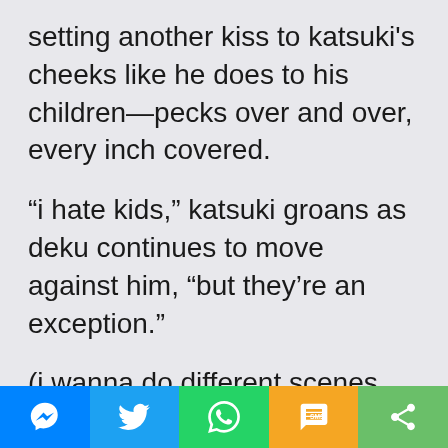setting another kiss to katsuki's cheeks like he does to his children—pecks over and over, every inch covered.
“i hate kids,” katsuki groans as deku continues to move against him, “but they’re an exception.”
(i wanna do different scenes because this was nsfw and deku was sad. i just want to write him as a papa, emphasize their age difference, make deku assertive and treat katsuki like a kid lol)